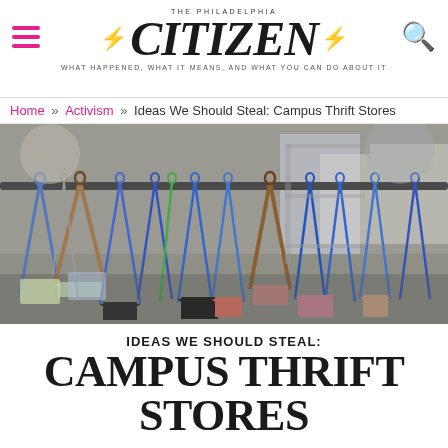THE PHILADELPHIA CITIZEN — WHAT HAPPENED, WHAT IT MEANS, AND WHAT YOU CAN DO ABOUT IT
Home » Activism » Ideas We Should Steal: Campus Thrift Stores
[Figure (photo): Racks of clothing on hangers at a thrift store, with blue, wooden, and wire hangers visible. Various garments including colorful items hang densely packed. The background shows more donated items and shelving in a store setting.]
IDEAS WE SHOULD STEAL: CAMPUS THRIFT STORES